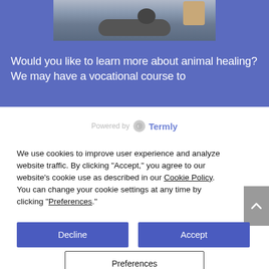[Figure (photo): Photo of a gray cat being petted by a human hand, lying on a surface outdoors]
Would you like to learn more about animal healing? We may have a vocational course to
[Figure (logo): Powered by Termly logo]
We use cookies to improve user experience and analyze website traffic. By clicking “Accept,” you agree to our website’s cookie use as described in our Cookie Policy. You can change your cookie settings at any time by clicking “Preferences.”
Decline
Accept
Preferences